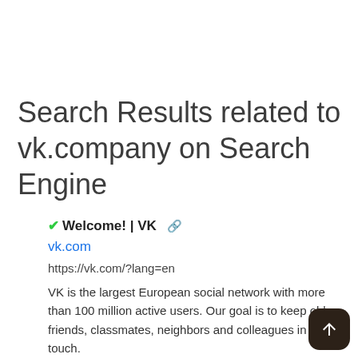Search Results related to vk.company on Search Engine
✔Welcome! | VK 🔗
vk.com
https://vk.com/?lang=en
VK is the largest European social network with more than 100 million active users. Our goal is to keep old friends, classmates, neighbors and colleagues in touch.
DA: 52  PA: 28  MOZ Rank: 75